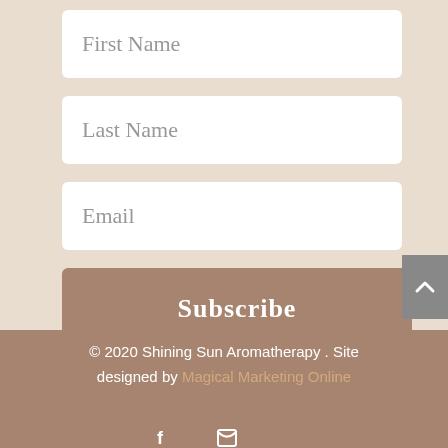[Figure (screenshot): Web form with First Name, Last Name, Email input fields and a Subscribe button on a beige background]
© 2020 Shining Sun Aromatherapy . Site designed by Magical Marketing Online